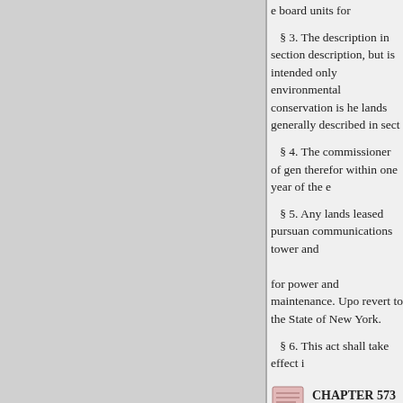e board units for
§ 3. The description in section description, but is intended only environmental conservation is he lands generally described in sect
§ 4. The commissioner of gen therefor within one year of the e
§ 5. Any lands leased pursuan communications tower and for power and maintenance. Upo revert to the State of New York.
§ 6. This act shall take effect i
[Figure (illustration): Small book or document icon]
CHAPTER 573
States;
e three ES DECE
AN ACT to amend the education